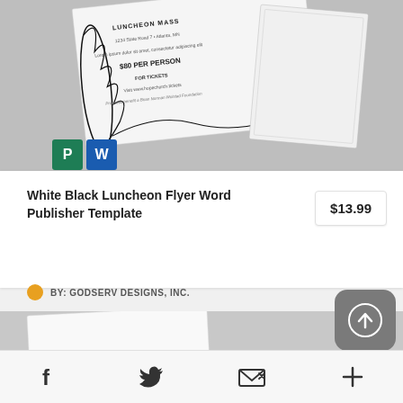[Figure (photo): Product image of a White Black Luncheon Flyer Word Publisher Template showing a decorative black and white flyer with ornamental design and Microsoft Publisher/Word icons]
White Black Luncheon Flyer Word Publisher Template
$13.99
BY: GODSERV DESIGNS, INC.
[Figure (photo): Second product preview image showing a white christening or celebration card with elegant script text]
[Figure (screenshot): Toolbar with social sharing icons: Facebook, Twitter, email/share, and a plus icon; upload button overlay]